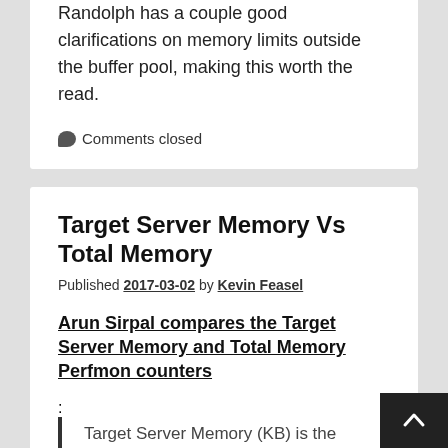Randolph has a couple good clarifications on memory limits outside the buffer pool, making this worth the read.
Comments closed
Target Server Memory Vs Total Memory
Published 2017-03-02 by Kevin Feasel
Arun Sirpal compares the Target Server Memory and Total Memory Perfmon counters:
Target Server Memory (KB) is the amount of memory that SQL Server is willing (potential) to allocate to the buffer pool under its current load. Total Server Memory (KB) is what SQL currently has allocated.